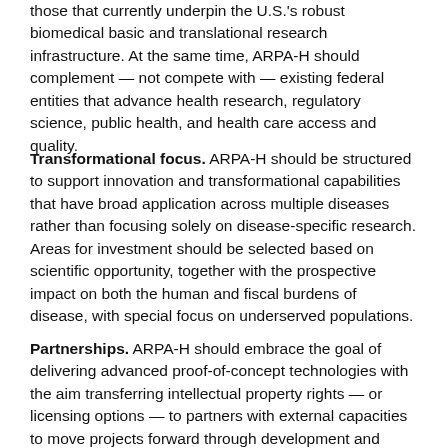those that currently underpin the U.S.'s robust biomedical basic and translational research infrastructure. At the same time, ARPA-H should complement — not compete with — existing federal entities that advance health research, regulatory science, public health, and health care access and quality.
Transformational focus. ARPA-H should be structured to support innovation and transformational capabilities that have broad application across multiple diseases rather than focusing solely on disease-specific research. Areas for investment should be selected based on scientific opportunity, together with the prospective impact on both the human and fiscal burdens of disease, with special focus on underserved populations.
Partnerships. ARPA-H should embrace the goal of delivering advanced proof-of-concept technologies with the aim transferring intellectual property rights — or licensing options — to partners with external capacities to move projects forward through development and commercialization.